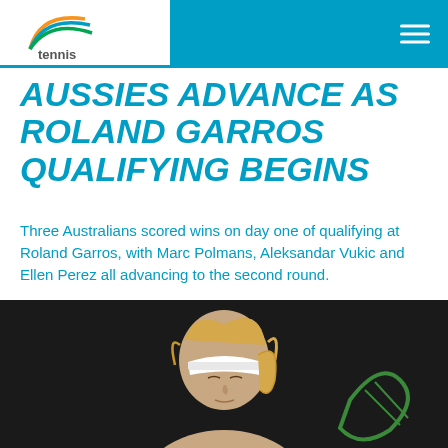tennis (logo)
AUSSIES ADVANCE AS ROLAND GARROS QUALIFYING BEGINS
Three Australians scored wins on day one of qualifying at Roland Garros, with Marc Polmans, Aleksandar Vukic and Ellen Perez all advancing to the second round.
Paris, France , 25 May 2021 | Leigh Rogers  Tweet 54  Share 500
[Figure (photo): Tennis player in white visor mid-swing on dark background]